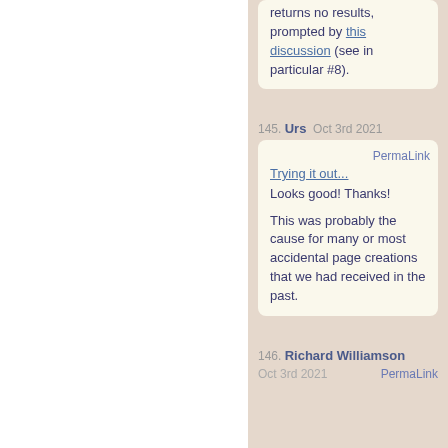returns no results, prompted by this discussion (see in particular #8).
145. Urs  Oct 3rd 2021
PermaLink
Trying it out...
Looks good! Thanks!

This was probably the cause for many or most accidental page creations that we had received in the past.
146. Richard Williamson  Oct 3rd 2021  PermaLink